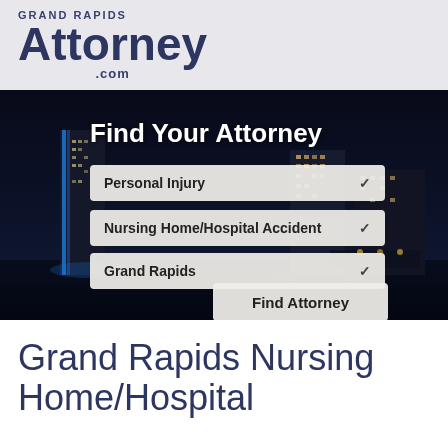GRAND RAPIDS Attorney .com
[Figure (photo): Night cityscape of Grand Rapids with illuminated skyscrapers and river reflections]
Find Your Attorney
Personal Injury
Nursing Home/Hospital Accident
Grand Rapids
Find Attorney
Grand Rapids Nursing Home/Hospital